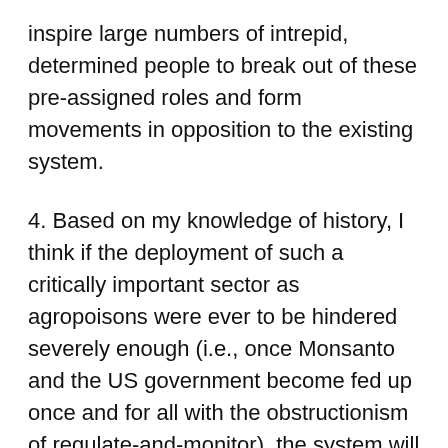inspire large numbers of intrepid, determined people to break out of these pre-assigned roles and form movements in opposition to the existing system.
4. Based on my knowledge of history, I think if the deployment of such a critically important sector as agropoisons were ever to be hindered severely enough (i.e., once Monsanto and the US government become fed up once and for all with the obstructionism of regulate-and-monitor), the system will become far more aggressive and lawless than it's already been in forcing its poisons into the food and ecology. We already see the USDA in the process of abrogating the entirety of its oversight authority toward expanding ranges of poisons.
We can expect the Trump administration to step up the